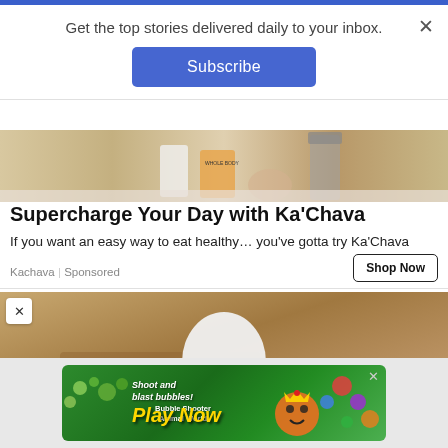Get the top stories delivered daily to your inbox.
Subscribe
[Figure (photo): Kitchen counter scene with blender, containers, and smoothie products — Ka'Chava advertisement image]
Supercharge Your Day with Ka'Chava
If you want an easy way to eat healthy… you've gotta try Ka'Chava
Kachava | Sponsored
Shop Now
[Figure (photo): Hand holding a white LED light bulb — advertisement image]
[Figure (screenshot): Mobile game advertisement — 'Shoot and blast bubbles! Play Now — Bubble Shooter Animal World']